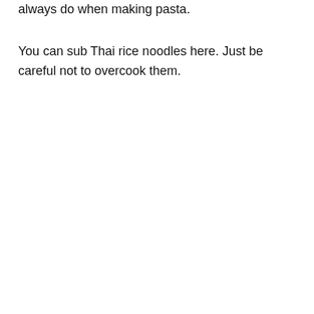always do when making pasta.
You can sub Thai rice noodles here. Just be careful not to overcook them.